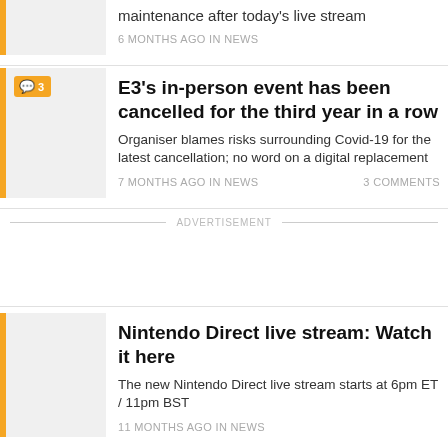maintenance after today's live stream
6 MONTHS AGO IN NEWS
E3's in-person event has been cancelled for the third year in a row
Organiser blames risks surrounding Covid-19 for the latest cancellation; no word on a digital replacement
7 MONTHS AGO IN NEWS   3 COMMENTS
ADVERTISEMENT
Nintendo Direct live stream: Watch it here
The new Nintendo Direct live stream starts at 6pm ET / 11pm BST
11 MONTHS AGO IN NEWS